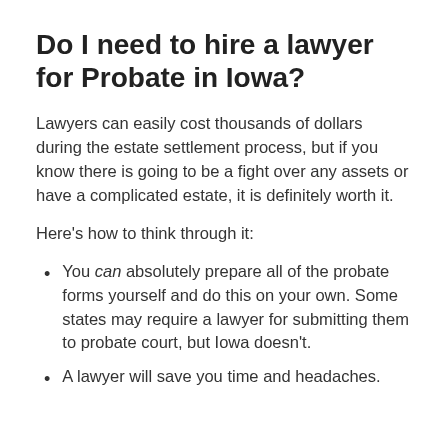Do I need to hire a lawyer for Probate in Iowa?
Lawyers can easily cost thousands of dollars during the estate settlement process, but if you know there is going to be a fight over any assets or have a complicated estate, it is definitely worth it.
Here's how to think through it:
You can absolutely prepare all of the probate forms yourself and do this on your own. Some states may require a lawyer for submitting them to probate court, but Iowa doesn't.
A lawyer will save you time and headaches.